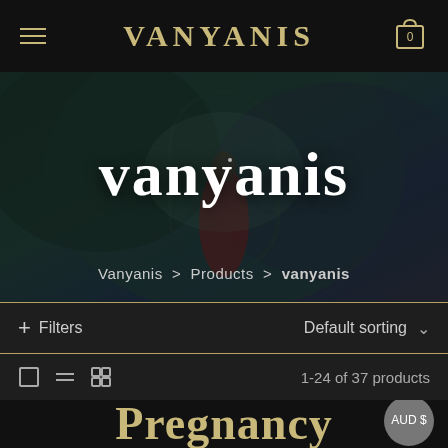VANYANIS
[Figure (photo): Hero banner showing a dark fantasy scene with a figure in a red dress in a misty forest/gothic archway background]
vanyanis
Vanyanis > Products > vanyanis
+ Filters   Default sorting
1-24 of 37 products
Pregnancy
AUD $